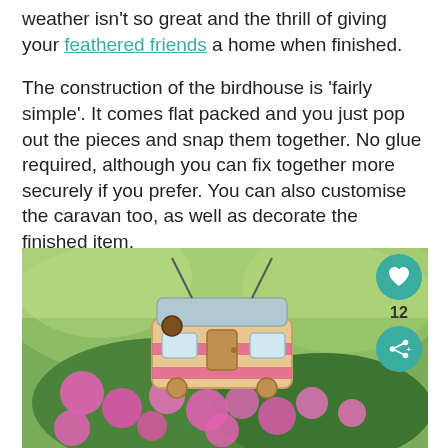weather isn't so great and the thrill of giving your feathered friends a home when finished.
The construction of the birdhouse is 'fairly simple'. It comes flat packed and you just pop out the pieces and snap them together. No glue required, although you can fix together more securely if you prefer. You can also customise the caravan too, as well as decorate the finished item.
[Figure (photo): A wooden caravan-shaped birdhouse hanging outdoors surrounded by pink flowers and green foliage in a garden setting, with a heart icon showing 12 likes and a share icon overlaid on the right side.]